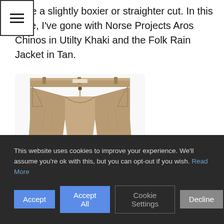[Figure (screenshot): Hamburger menu icon button — three horizontal lines inside a bordered square]
have a slightly boxier or straighter cut. In this case, I've gone with Norse Projects Aros Chinos in Utilty Khaki and the Folk Rain Jacket in Tan.
[Figure (photo): Product photo of khaki chino trousers (Norse Projects Aros Chinos in Utility Khaki), shown from waist to mid-shin on a white background.]
This website uses cookies to improve your experience. We'll assume you're ok with this, but you can opt-out if you wish. Read More
Accept
Accept All
Cookie Settings
Decline